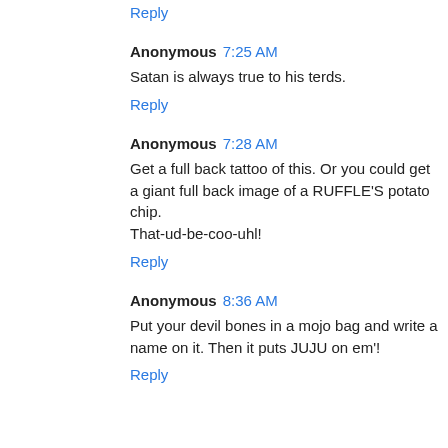Reply
Anonymous 7:25 AM
Satan is always true to his terds.
Reply
Anonymous 7:28 AM
Get a full back tattoo of this. Or you could get a giant full back image of a RUFFLE'S potato chip.
That-ud-be-coo-uhl!
Reply
Anonymous 8:36 AM
Put your devil bones in a mojo bag and write a name on it. Then it puts JUJU on em'!
Reply